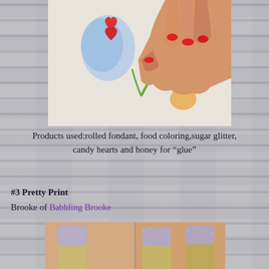[Figure (photo): Close-up photo of a hand with red-painted nails touching or decorating what appears to be a fondant cake with colorful decorations on a white surface]
Products used:rolled fondant, food coloring,sugar glitter, candy hearts and honey for “glue”
#3 Pretty Print
Brooke of Babbling Brooke
[Figure (photo): Two side-by-side close-up photos of fingernails painted with gold/champagne nail polish and purple glitter at the cuticle base, showing a reverse French manicure style]